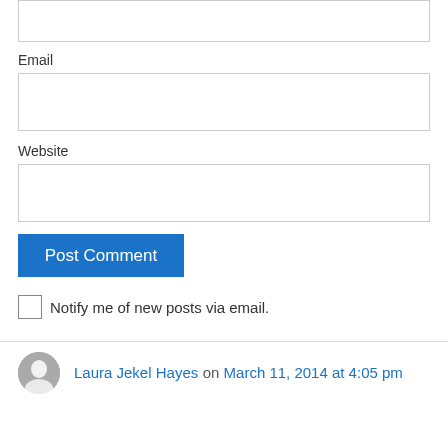Email
Website
Post Comment
Notify me of new posts via email.
Laura Jekel Hayes on March 11, 2014 at 4:05 pm